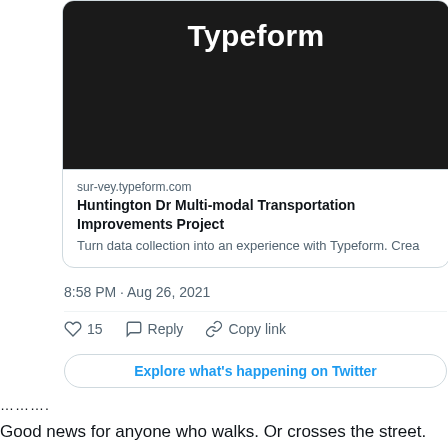[Figure (screenshot): Twitter/X embedded card showing a Typeform link for Huntington Dr Multi-modal Transportation Improvements Project. Dark header with 'Typeform' text, link preview box with domain, title, and description, timestamp 8:58 PM · Aug 26, 2021, action buttons (15 likes, Reply, Copy link), and 'Explore what's happening on Twitter' button.]
………
Good news for anyone who walks. Or crosses the street.